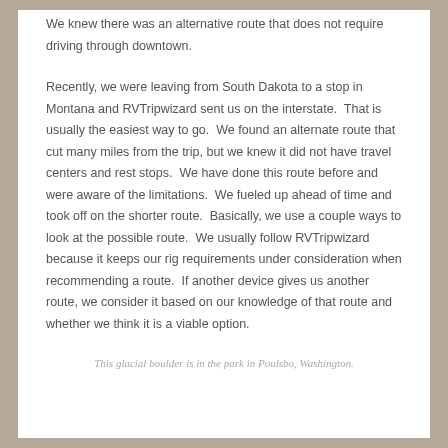We knew there was an alternative route that does not require driving through downtown.
Recently, we were leaving from South Dakota to a stop in Montana and RVTripwizard sent us on the interstate.  That is usually the easiest way to go.  We found an alternate route that cut many miles from the trip, but we knew it did not have travel centers and rest stops.  We have done this route before and were aware of the limitations.  We fueled up ahead of time and took off on the shorter route.  Basically, we use a couple ways to look at the possible route.  We usually follow RVTripwizard because it keeps our rig requirements under consideration when recommending a route.  If another device gives us another route, we consider it based on our knowledge of that route and whether we think it is a viable option.
This glacial boulder is in the park in Poulsbo, Washington.